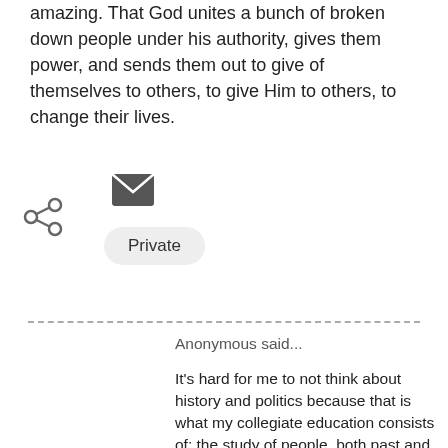amazing. That God unites a bunch of broken down people under his authority, gives them power, and sends them out to give of themselves to others, to give Him to others, to change their lives.
[Figure (infographic): Share icon (fork/share symbol) on the left and email envelope icon above a 'Private' pill button on the right]
Anonymous said...
It's hard for me to not think about history and politics because that is what my collegiate education consists of: the study of people, both past and present, who are so concerned with other people's thoughts and actions towards themselves that they run for public office and get to make decisions for us. The sad thing is that in the end it doesn't matter except that what happens in "that world" will give the antichrist an opportunity to rise to